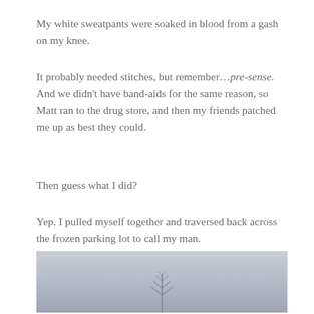My white sweatpants were soaked in blood from a gash on my knee.
It probably needed stitches, but remember…pre-sense. And we didn't have band-aids for the same reason, so Matt ran to the drug store, and then my friends patched me up as best they could.
Then guess what I did?
Yep. I pulled myself together and traversed back across the frozen parking lot to call my man.
The things we do for love.
[Figure (photo): A wintry outdoor scene with a misty grey sky and a bare tree or evergreen tree visible in the lower center of the image.]